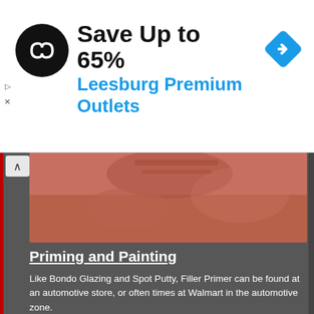[Figure (screenshot): Advertisement banner: black circular logo with infinity/tag symbol, text 'Save Up to 65%' in bold black and 'Leesburg Premium Outlets' in blue. Blue diamond navigation icon on right. Small play and X controls on left edge.]
[Figure (photo): Partial photo of reddish-brown textured surface (possibly clay or leather) cropped at top.]
Priming and Painting
Like Bondo Glazing and Spot Putty, Filler Primer can be found at an automotive store, or often times at Walmart in the automotive zone.
[Figure (photo): Photo of a Rust-Oleum Primer spray can being held. The can is gray with black and white label reading 'RUST-OLEUM PRIMER'. Wooden table/surface visible in background.]